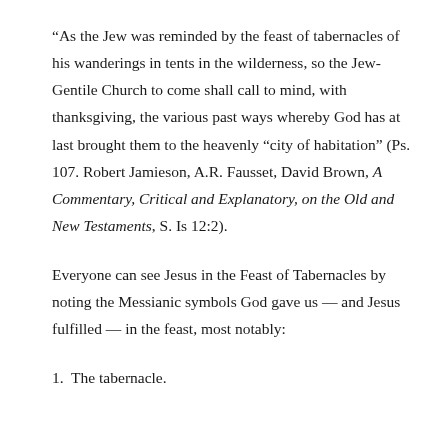“As the Jew was reminded by the feast of tabernacles of his wanderings in tents in the wilderness, so the Jew-Gentile Church to come shall call to mind, with thanksgiving, the various past ways whereby God has at last brought them to the heavenly “city of habitation” (Ps. 107. Robert Jamieson, A.R. Fausset, David Brown, A Commentary, Critical and Explanatory, on the Old and New Testaments, S. Is 12:2).
Everyone can see Jesus in the Feast of Tabernacles by noting the Messianic symbols God gave us — and Jesus fulfilled — in the feast, most notably:
1.  The tabernacle.